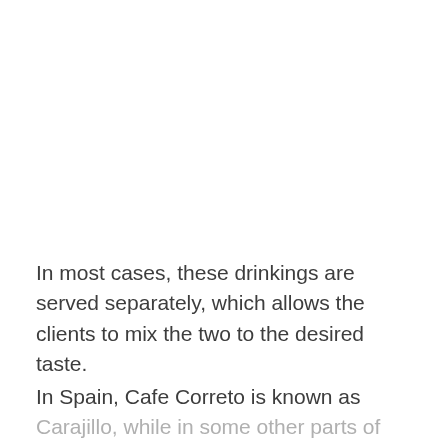In most cases, these drinkings are served separately, which allows the clients to mix the two to the desired taste.
In Spain, Cafe Correto is known as Carajillo, while in some other parts of the world, the same spiked coffee is